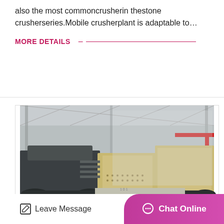also the most commoncrusherin thestone crusherseries.Mobile crusherplant is adaptable to…
MORE DETAILS
[Figure (photo): Industrial factory interior showing a large mobile crusher machine/plant on a track inside a large warehouse with steel roof structure. The machine is dark grey/black metal with yellow/beige components.]
Leave Message
Chat Online